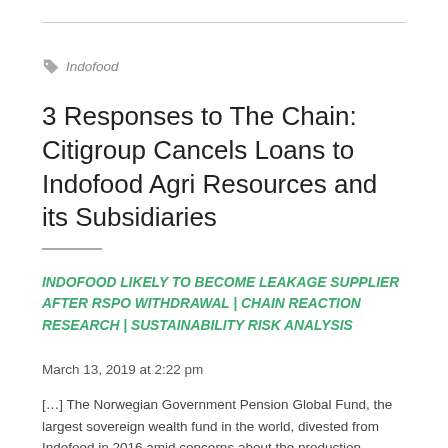Indofood
3 Responses to The Chain: Citigroup Cancels Loans to Indofood Agri Resources and its Subsidiaries
INDOFOOD LIKELY TO BECOME LEAKAGE SUPPLIER AFTER RSPO WITHDRAWAL | CHAIN REACTION RESEARCH | SUSTAINABILITY RISK ANALYSIS
March 13, 2019 at 2:22 pm
[…] The Norwegian Government Pension Global Fund, the largest sovereign wealth fund in the world, divested from Indofood in 2016 amid concerns about the production deforestation-linked palm oil. The company is also […]